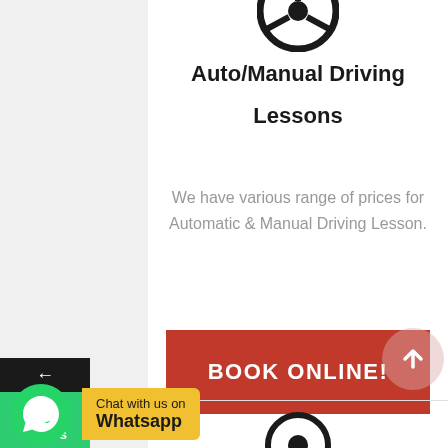[Figure (illustration): Steering wheel icon partially visible at top of main content area]
Auto/Manual Driving
Lessons
We have various range of prices for Automatic & Manual Driving Lesson.
BOOK ONLINE!
[Figure (illustration): WhatsApp chat widget with green phone icon and yellow label reading 'Chat with us on Whatsapp']
[Figure (illustration): Partial circular icon visible at bottom of page]
[Figure (illustration): Scroll-to-top button: pink circular arrow icon at bottom right]
[Figure (illustration): Left sidebar with dark back arrow, green Call Us button, and blue Facebook button]